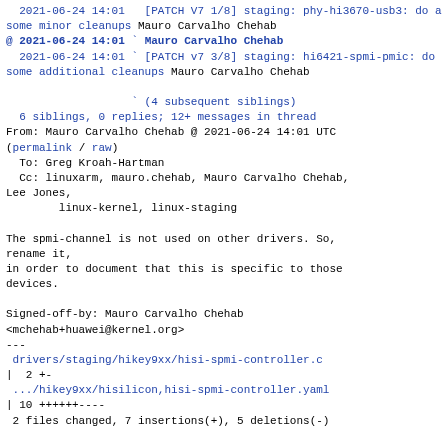2021-06-24 14:01   [PATCH V7 1/8] staging: phy-hi3670-usb3: do a some minor cleanups Mauro Carvalho Chehab
@ 2021-06-24 14:01 ` Mauro Carvalho Chehab
  2021-06-24 14:01 ` [PATCH v7 3/8] staging: hi6421-spmi-pmic: do some additional cleanups Mauro Carvalho Chehab
` (4 subsequent siblings)
6 siblings, 0 replies; 12+ messages in thread
From: Mauro Carvalho Chehab @ 2021-06-24 14:01 UTC
(permalink / raw)
  To: Greg Kroah-Hartman
  Cc: linuxarm, mauro.chehab, Mauro Carvalho Chehab,
Lee Jones,
        linux-kernel, linux-staging
The spmi-channel is not used on other drivers. So,
rename it,
in order to document that this is specific to those
devices.
Signed-off-by: Mauro Carvalho Chehab
<mchehab+huawei@kernel.org>
---
 drivers/staging/hikey9xx/hisi-spmi-controller.c
|  2 +-
 .../hikey9xx/hisilicon,hisi-spmi-controller.yaml
| 10 ++++++----
 2 files changed, 7 insertions(+), 5 deletions(-)